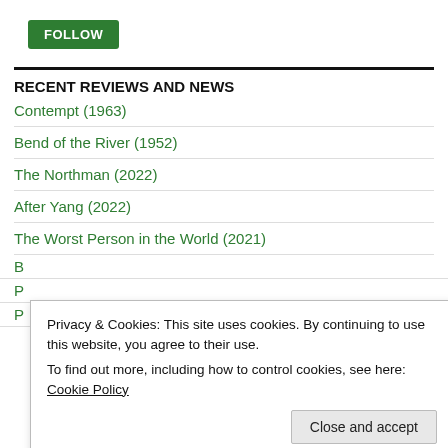FOLLOW
RECENT REVIEWS AND NEWS
Contempt (1963)
Bend of the River (1952)
The Northman (2022)
After Yang (2022)
The Worst Person in the World (2021)
Privacy & Cookies: This site uses cookies. By continuing to use this website, you agree to their use. To find out more, including how to control cookies, see here: Cookie Policy
Close and accept